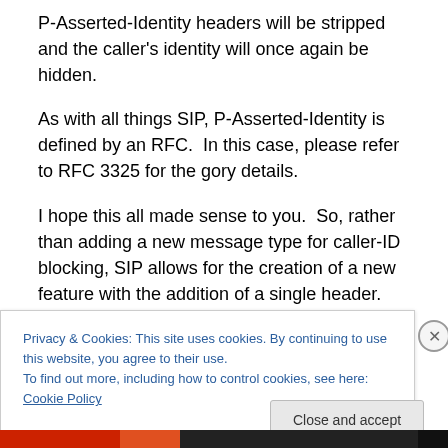P-Asserted-Identity headers will be stripped and the caller's identity will once again be hidden.
As with all things SIP, P-Asserted-Identity is defined by an RFC.  In this case, please refer to RFC 3325 for the gory details.
I hope this all made sense to you.  So, rather than adding a new message type for caller-ID blocking, SIP allows for the creation of a new feature with the addition of a single header.  As time goes by, I will explore more of these header-based features.  Stay tuned for further fun and
Privacy & Cookies: This site uses cookies. By continuing to use this website, you agree to their use.
To find out more, including how to control cookies, see here: Cookie Policy